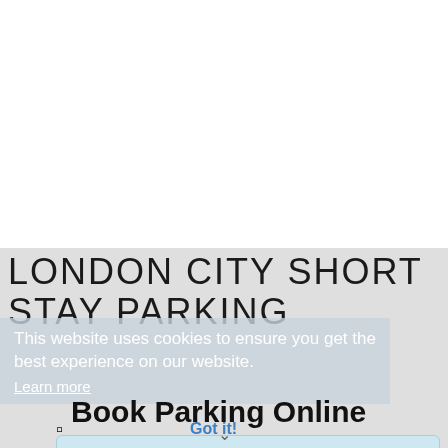LONDON CITY SHORT STAY PARKING
This website uses cookies to ensure you get the best experience on our website.
Learn more
✈ Book Parking Online NOW
Got it!
Airport  [LCY] London City